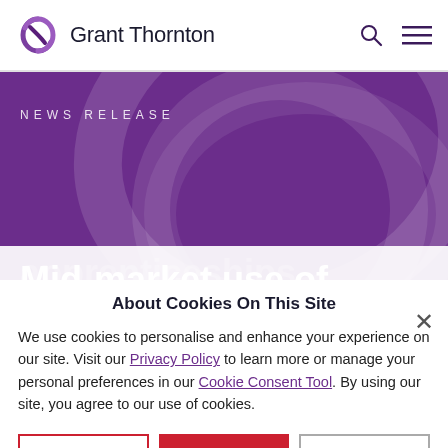Grant Thornton
NEWS RELEASE
Mid-market use of apprenticeships increases
About Cookies On This Site
We use cookies to personalise and enhance your experience on our site. Visit our Privacy Policy to learn more or manage your personal preferences in our Cookie Consent Tool. By using our site, you agree to our use of cookies.
Ahead of National Apprenticeship